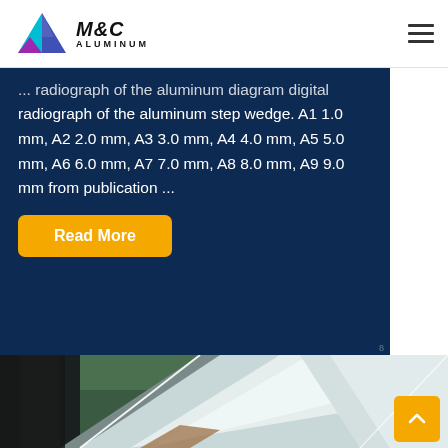[Figure (logo): M&C Aluminum logo with triangular mountain icon in blue and purple, company name in bold italic]
radiograph of the aluminum step wedge. A1 1.0 mm, A2 2.0 mm, A3 3.0 mm, A4 4.0 mm, A5 5.0 mm, A6 6.0 mm, A7 7.0 mm, A8 8.0 mm, A9 9.0 mm from publication ...
Read More
[Figure (photo): Photo of aluminum sheets/plates with a shiny metallic surface against a green background]